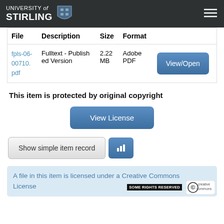UNIVERSITY of STIRLING
| File | Description | Size | Format |  |
| --- | --- | --- | --- | --- |
| fpls-06-00710.pdf | Fulltext - Published Version | 2.22 MB | Adobe PDF | View/Open |
This item is protected by original copyright
View License
Show simple item record
A file in this item is licensed under a Creative Commons License